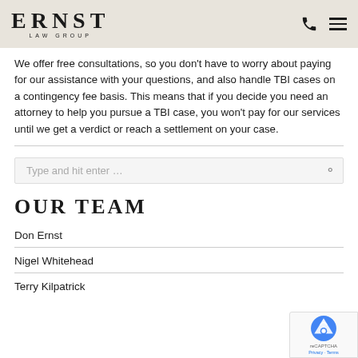ERNST LAW GROUP
We offer free consultations, so you don't have to worry about paying for our assistance with your questions, and also handle TBI cases on a contingency fee basis. This means that if you decide you need an attorney to help you pursue a TBI case, you won't pay for our services until we get a verdict or reach a settlement on your case.
OUR TEAM
Don Ernst
Nigel Whitehead
Terry Kilpatrick